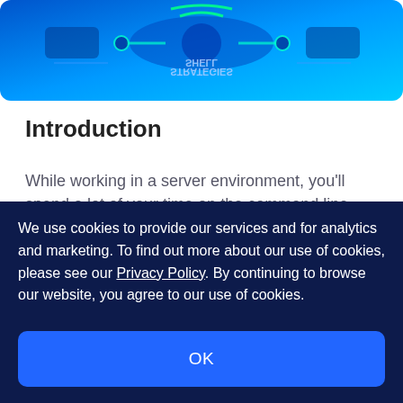[Figure (photo): A blue-toned banner image showing computer hardware and networking equipment with text overlays, partially visible at the top of the page.]
Introduction
While working in a server environment, you’ll spend a lot of your time on the command line. Most likely, you’ll be using the bash shell, which is the default of most distributions.
We use cookies to provide our services and for analytics and marketing. To find out more about our use of cookies, please see our Privacy Policy. By continuing to browse our website, you agree to our use of cookies.
OK